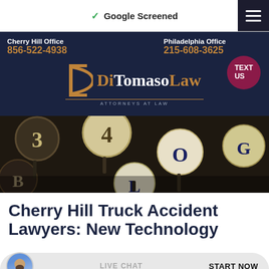Google Screened
Cherry Hill Office 856-522-4938 | Philadelphia Office 215-608-3625
[Figure (logo): DiTomaso Law Attorneys at Law logo with gold bracket D and text, plus TEXT US bubble]
[Figure (photo): Close-up photograph of vintage typewriter keys showing letters B, L, O, G and numbers 3, 4]
Cherry Hill Truck Accident Lawyers: New Technology
LIVE CHAT  START NOW